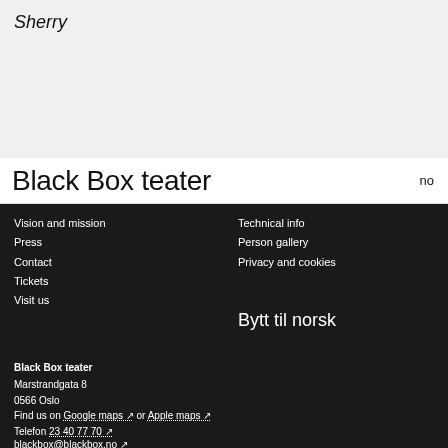Sherry
Black Box teater
no
Vision and mission
Press
Contact
Tickets
Visit us
Technical info
Person gallery
Privacy and cookies
Bytt til norsk
Black Box teater
Marstrandgata 8
0566 Oslo
Find us on Google maps ↗ or Apple maps ↗
Telefon 23 40 77 70 ↗
blackbox@blackbox.no ↗